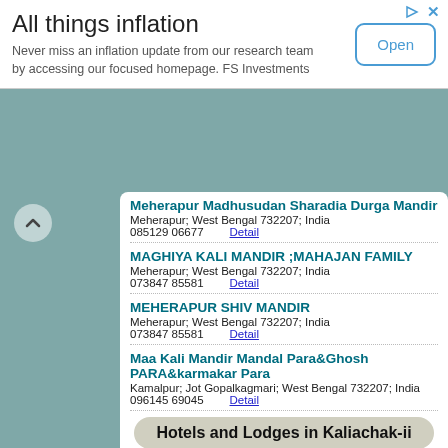[Figure (screenshot): Advertisement banner for FS Investments 'All things inflation' with Open button]
Meherapur Madhusudan Sharadia Durga Mandir
Meherapur; West Bengal 732207; India
085129 06677    Detail
MAGHIYA KALI MANDIR ;MAHAJAN FAMILY
Meherapur; West Bengal 732207; India
073847 85581    Detail
MEHERAPUR SHIV MANDIR
Meherapur; West Bengal 732207; India
073847 85581    Detail
Maa Kali Mandir Mandal Para&Ghosh PARA&karmakar Para
Kamalpur; Jot Gopalkagmari; West Bengal 732207; India
096145 69045    Detail
Hotels and Lodges in Kaliachak-ii
Jotedomon